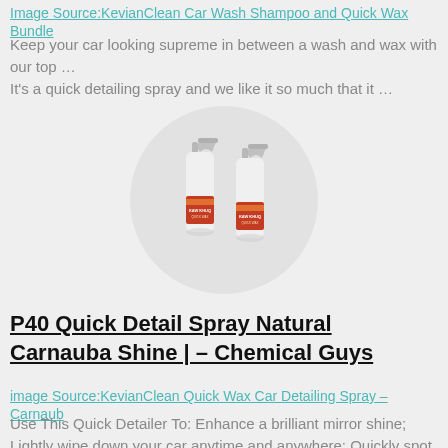Image Source:KevianClean Car Wash Shampoo and Quick Wax Bundle
Keep your car looking supreme in between a wash and wax with our top … It's a quick detailing spray and we like it so much that it …
[Figure (photo): Two white spray bottles of KevianClean Quick Wax product, displayed inside a circular grey background. The bottles have orange/red product labels.]
P40 Quick Detail Spray Natural Carnauba Shine | – Chemical Guys
image Source:KevianClean Quick Wax Car Detailing Spray – Carnaub
Use This Quick Detailer To: Enhance a brilliant mirror shine; Lightly wipe down your car anytime and anywhere; Quickly spot clean unexpected